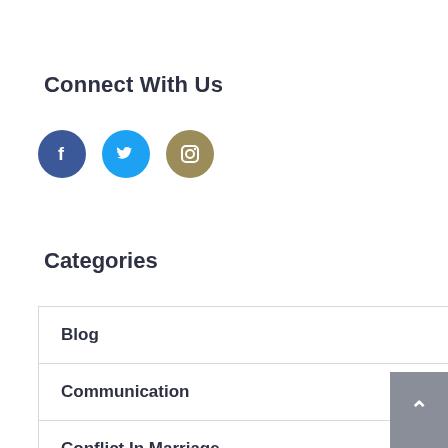Connect With Us
[Figure (illustration): Three social media icons: Facebook (blue circle with f), Twitter (light blue circle with bird), Instagram (olive/gold circle with camera outline)]
Categories
Blog
Communication
Conflict In Marriage